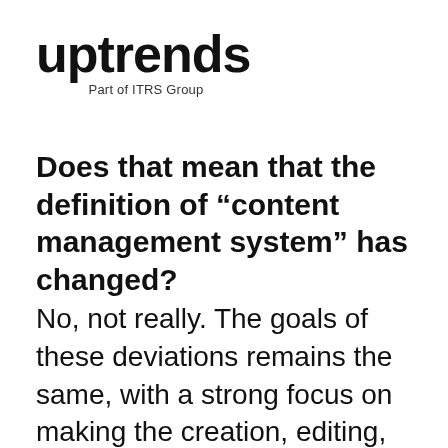[Figure (logo): Uptrends logo with wordmark 'uptrends' in bold black and subtitle 'Part of ITRS Group']
Does that mean that the definition of “content management system” has changed?
No, not really. The goals of these deviations remains the same, with a strong focus on making the creation, editing, and management of website content a simple process. While there does seem to be a trend for companies